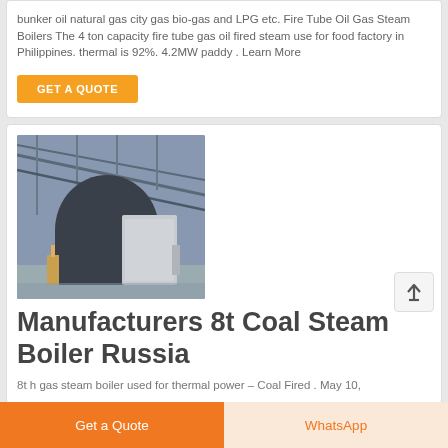bunker oil natural gas city gas bio-gas and LPG etc. Fire Tube Oil Gas Steam Boilers The 4 ton capacity fire tube gas oil fired steam use for food factory in Philippines. thermal is 92%. 4.2MW paddy . Learn More
GET A QUOTE
[Figure (photo): Industrial boiler equipment inside a warehouse/factory with metal roof structure]
Manufacturers 8t Coal Steam Boiler Russia
8t h gas steam boiler used for thermal power – Coal Fired . May 10,
Get a Quote
WhatsApp